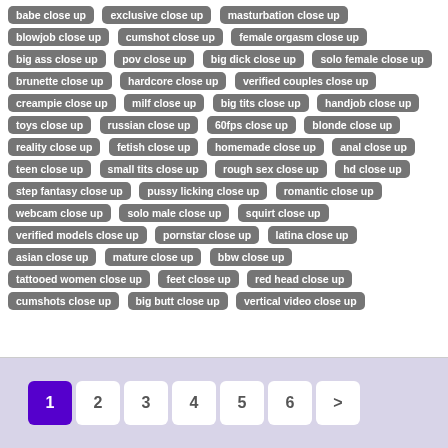babe close up
exclusive close up
masturbation close up
blowjob close up
cumshot close up
female orgasm close up
big ass close up
pov close up
big dick close up
solo female close up
brunette close up
hardcore close up
verified couples close up
creampie close up
milf close up
big tits close up
handjob close up
toys close up
russian close up
60fps close up
blonde close up
reality close up
fetish close up
homemade close up
anal close up
teen close up
small tits close up
rough sex close up
hd close up
step fantasy close up
pussy licking close up
romantic close up
webcam close up
solo male close up
squirt close up
verified models close up
pornstar close up
latina close up
asian close up
mature close up
bbw close up
tattooed women close up
feet close up
red head close up
cumshots close up
big butt close up
vertical video close up
1 2 3 4 5 6 >